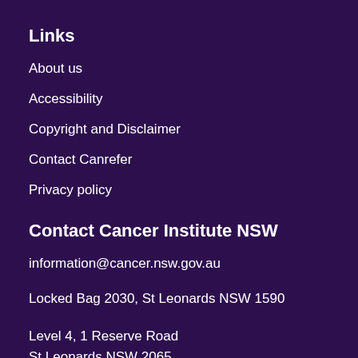Links
About us
Accessibility
Copyright and Disclaimer
Contact Canrefer
Privacy policy
Contact Cancer Institute NSW
information@cancer.nsw.gov.au
Locked Bag 2030, St Leonards NSW 1590
Level 4, 1 Reserve Road
St Leonards NSW 2065